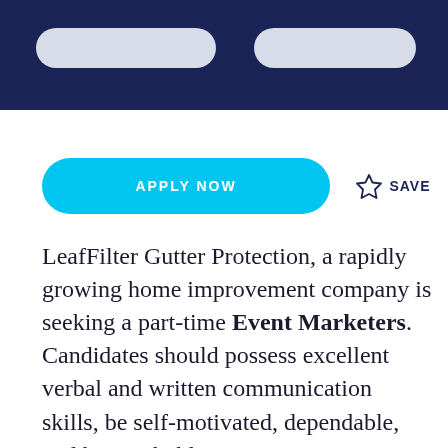APPLY NOW
SAVE
LeafFilter Gutter Protection, a rapidly growing home improvement company is seeking a part-time Event Marketers. Candidates should possess excellent verbal and written communication skills, be self-motivated, dependable, and have reliable transportation. Selected applicants will work on site at a variety of venues such as county fairs, festivals, and home show. Hours and days vary, and weekend availability is a must.